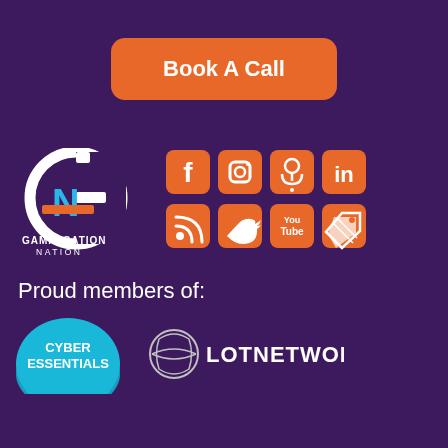[Figure (other): Orange rounded rectangle button with white bold text 'Book A Call']
[Figure (logo): Gamification Nation logo - white circular G with blue N and orange bar, with text GAMIFICATION NATION below]
[Figure (other): Grid of 8 orange social media icons: Facebook, Instagram, Podcast, LinkedIn, RSS, Twitter, YouTube, Tag/Price]
Proud members of:
[Figure (logo): Cyber Essentials circular badge logo in teal/blue]
[Figure (logo): LotNetwork logo with shield/globe icon and LOTNETWORK text in white/silver]